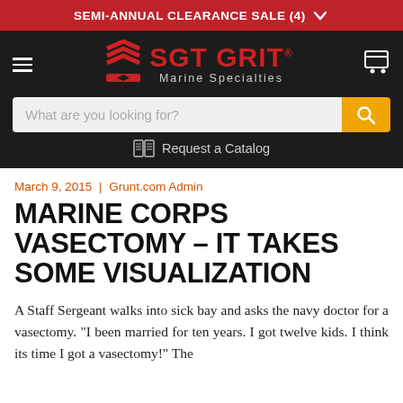SEMI-ANNUAL CLEARANCE SALE (4) ✓
[Figure (logo): SGT GRIT Marine Specialties logo with red chevron emblem, hamburger menu, and cart icon on dark textured background. Includes search bar with 'What are you looking for?' placeholder and orange search button. Below: catalog icon with 'Request a Catalog' text.]
March 9, 2015 | Grunt.com Admin
MARINE CORPS VASECTOMY – IT TAKES SOME VISUALIZATION
A Staff Sergeant walks into sick bay and asks the navy doctor for a vasectomy. "I been married for ten years. I got twelve kids. I think its time I got a vasectomy!" The